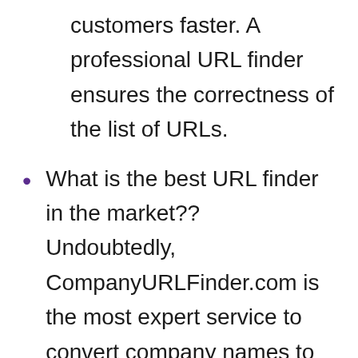customers faster. A professional URL finder ensures the correctness of the list of URLs.
What is the best URL finder in the market?? Undoubtedly, CompanyURLFinder.com is the most expert service to convert company names to URLs as it: Uses the latest technology to verify the list of URLs before sending them to the user. It has various services including Company Website Finder, LinkedIn